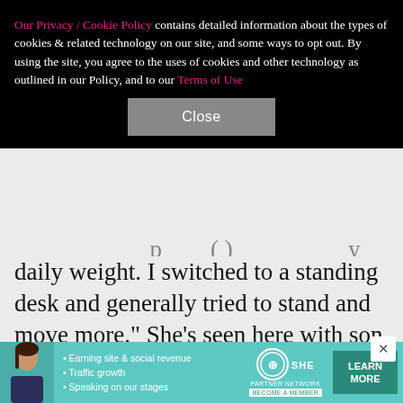Our Privacy / Cookie Policy contains detailed information about the types of cookies & related technology on our site, and some ways to opt out. By using the site, you agree to the uses of cookies and other technology as outlined in our Policy, and to our Terms of Use
Close
daily weight. I switched to a standing desk and generally tried to stand and move more." She's seen here with son Bryce Drummond in December 2021.
[Figure (screenshot): Advertisement banner for SHE Media Partner Network featuring a woman, bullet points about earning site & social revenue, traffic growth, speaking on stages, and a Learn More button]
X